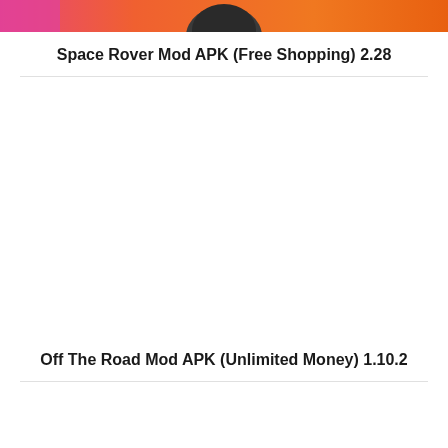[Figure (photo): Partial view of a mobile game promotional banner with orange/pink/gradient background showing a character]
Space Rover Mod APK (Free Shopping) 2.28
[Figure (photo): White empty space area representing a content card placeholder]
Off The Road Mod APK (Unlimited Money) 1.10.2
[Figure (photo): White empty space area representing a content card placeholder]